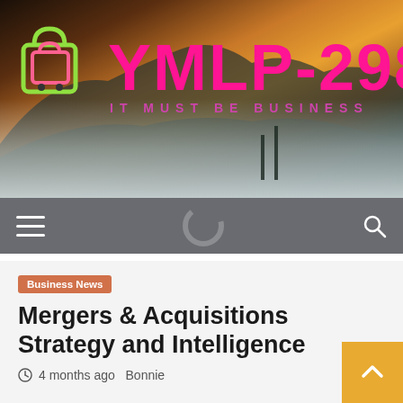[Figure (logo): YMLP-298 website header banner with mountain landscape background at sunset, shopping cart logo icon on left, large magenta YMLP-298 text, and subtitle IT MUST BE BUSINESS]
YMLP-298 IT MUST BE BUSINESS
[Figure (screenshot): Navigation bar with hamburger menu icon on left and search icon on right, dark semi-transparent background]
Business News
Mergers & Acquisitions Strategy and Intelligence
4 months ago  Bonnie